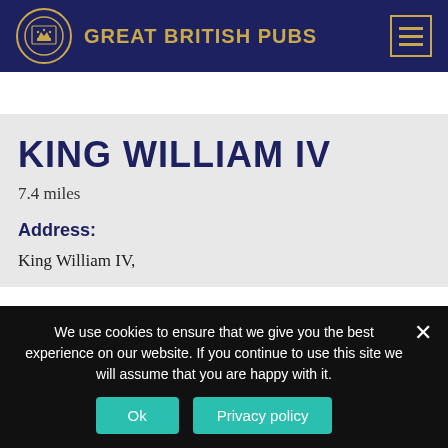GREAT BRITISH PUBS
KING WILLIAM IV
7.4 miles
Address:
King William IV,
We use cookies to ensure that we give you the best experience on our website. If you continue to use this site we will assume that you are happy with it.